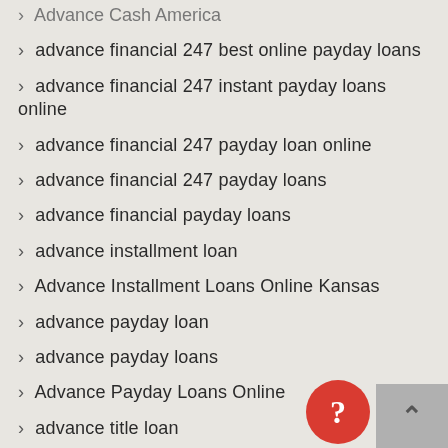advance financial 247 best online payday loans
advance financial 247 instant payday loans online
advance financial 247 payday loan online
advance financial 247 payday loans
advance financial payday loans
advance installment loan
Advance Installment Loans Online Kansas
advance payday loan
advance payday loans
Advance Payday Loans Online
advance title loan
advance title loans
Advance Title Loans Online Alaska